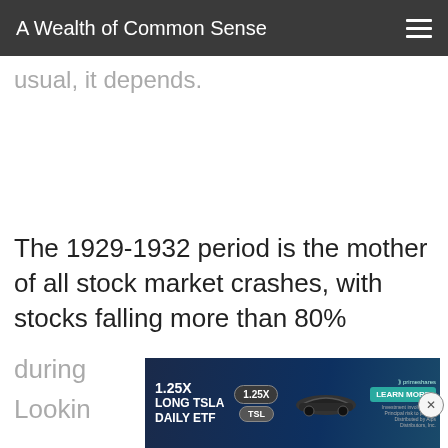A Wealth of Common Sense
usual, it depends.
The 1929-1932 period is the mother of all stock market crashes, with stocks falling more than 80%
during
Lookin ratio